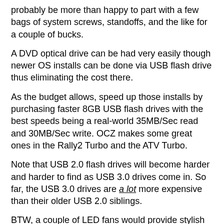probably be more than happy to part with a few bags of system screws, standoffs, and the like for a couple of bucks.
A DVD optical drive can be had very easily though newer OS installs can be done via USB flash drive thus eliminating the cost there.
As the budget allows, speed up those installs by purchasing faster 8GB USB flash drives with the best speeds being a real-world 35MB/Sec read and 30MB/Sec write. OCZ makes some great ones in the Rally2 Turbo and the ATV Turbo.
Note that USB 2.0 flash drives will become harder and harder to find as USB 3.0 drives come in. So far, the USB 3.0 drives are _a lot_ more expensive than their older USB 2.0 siblings.
BTW, a couple of LED fans would provide stylish cooling for that extra touch . :D
Philip Elder
MPECS Inc.
Microsoft Small Business Specialists